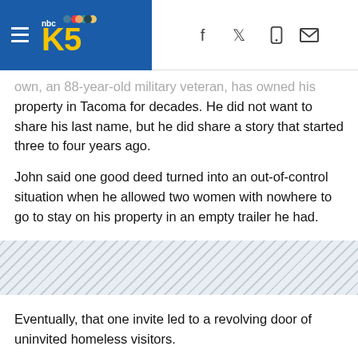KING5 News header with hamburger menu, logo, and social icons (Facebook, Twitter, mobile, email)
...own, an 88-year-old military veteran, has owned his property in Tacoma for decades. He did not want to share his last name, but he did share a story that started three to four years ago.
John said one good deed turned into an out-of-control situation when he allowed two women with nowhere to go to stay on his property in an empty trailer he had.
[Figure (other): Diagonal stripe pattern divider band]
Eventually, that one invite led to a revolving door of uninvited homeless visitors.
"They take over slowly," said John. "It's kind of like an epidemic."
Years later, now John is caught in a difficult situation. Tents...